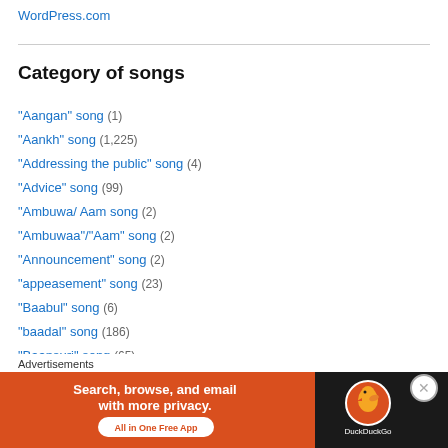WordPress.com
Category of songs
"Aangan" song (1)
"Aankh" song (1,225)
"Addressing the public" song (4)
"Advice" song (99)
"Ambuwa/ Aam song (2)
"Ambuwaa"/"Aam" song (2)
"Announcement" song (2)
"appeasement" song (23)
"Baabul" song (6)
"baadal" song (186)
"Baansuri" song (65)
"Bangla" (Bungalow) Song (1)
Advertisements
[Figure (infographic): DuckDuckGo advertisement banner: Search, browse, and email with more privacy. All in One Free App. DuckDuckGo logo on dark background.]